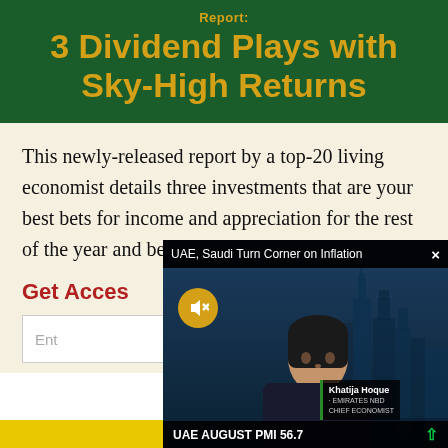Report:
3 Dividend Plays with Sky-High Returns
This newly-released report by a top-20 living economist details three investments that are your best bets for income and appreciation for the rest of the year and beyond.
Get Acces...
[Figure (screenshot): Video popup overlay showing a news segment titled 'UAE, Saudi Turn Corner on Inflation' with a female presenter (Khatija Hoque, Emirates NBD Chief Economist) against a city skyline background. Lower third reads: UAE AUGUST PMI 56.7 with an upward arrow. A mute button (yellow circle with speaker icon) is visible. A close (X) button is in the top right corner.]